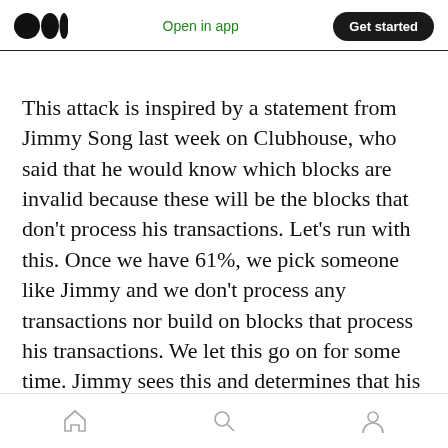Medium logo | Open in app | Get started
This attack is inspired by a statement from Jimmy Song last week on Clubhouse, who said that he would know which blocks are invalid because these will be the blocks that don't process his transactions. Let's run with this. Once we have 61%, we pick someone like Jimmy and we don't process any transactions nor build on blocks that process his transactions. We let this go on for some time. Jimmy sees this and determines that his blocks are being censored. So Jimmy knows for sure which blocks are bad.
Home | Search | Profile